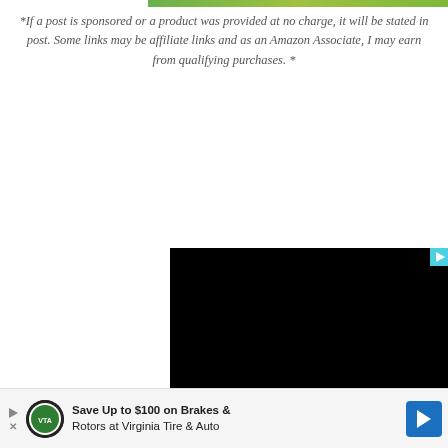[Figure (photo): Partial green banner/image strip at the top of the page]
*If a post is sponsored or a product was provided at no charge, it will be stated in post. Some links may be affiliate links and as an Amazon Associate, I may earn from qualifying purchases. *
[Figure (screenshot): Black video player area with a teal play button in the top right corner]
[Figure (other): Advertisement banner: Save Up to $100 on Brakes & Rotors at Virginia Tire & Auto, with Virginia Tire & Auto logo and blue arrow icon]